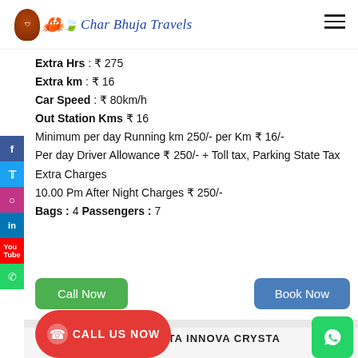Char Bhuja Travels
Extra Hrs : ₹ 275
Extra km : ₹ 16
Car Speed : ₹ 80km/h
Out Station Kms ₹ 16
Minimum per day Running km 250/- per Km ₹ 16/-
Per day Driver Allowance ₹ 250/- + Toll tax, Parking State Tax Extra Charges
10.00 Pm After Night Charges ₹ 250/-
Bags : 4 Passengers : 7
Call Now
Book Now
TOYOTA INNOVA CRYSTA
[Figure (infographic): Call Us Now badge with phone icon on red background]
[Figure (logo): WhatsApp green button icon on right side]